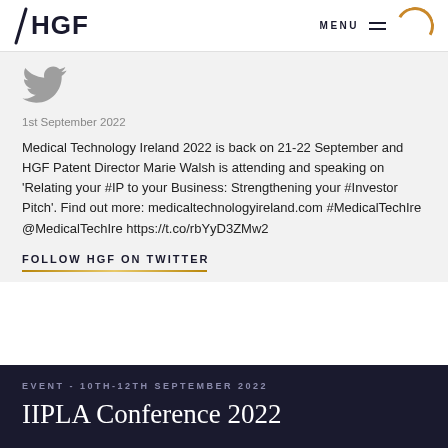HGF | MENU
[Figure (logo): Twitter bird icon in grey]
1st September 2022
Medical Technology Ireland 2022 is back on 21-22 September and HGF Patent Director Marie Walsh is attending and speaking on ‘Relating your #IP to your Business: Strengthening your #Investor Pitch’. Find out more: medicaltechnologyireland.com #MedicalTechIre @MedicalTechIre https://t.co/rbYyD3ZMw2
FOLLOW HGF ON TWITTER
EVENT - 10TH-12TH SEPTEMBER 2022
IIPLA Conference 2022